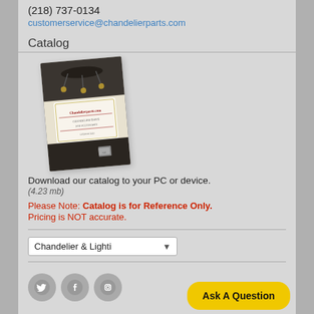(218) 737-0134
customerservice@chandelerparts.com
Catalog
[Figure (illustration): A rotated catalog cover image for chandelerparts.com showing chandelier parts]
Download our catalog to your PC or device.
(4.23 mb)
Please Note: Catalog is for Reference Only. Pricing is NOT accurate.
Chandelier & Lighti [dropdown]
[Figure (other): Social media icons: Twitter, Facebook, Instagram]
Ask A Question